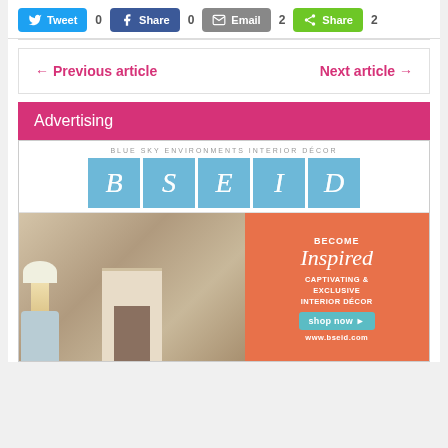[Figure (screenshot): Social sharing buttons row: Tweet (0), Share/Facebook (0), Email (2), Share/green (2)]
← Previous article   Next article →
Advertising
[Figure (advertisement): Blue Sky Environments Interior Décor (BSEID) advertisement. Shows logo with letters B S E I D in blue tiles, interior room photo with fireplace and elegant furniture, orange panel reading BECOME Inspired CAPTIVATING & EXCLUSIVE INTERIOR DÉCOR, teal shop now button, www.bseid.com]